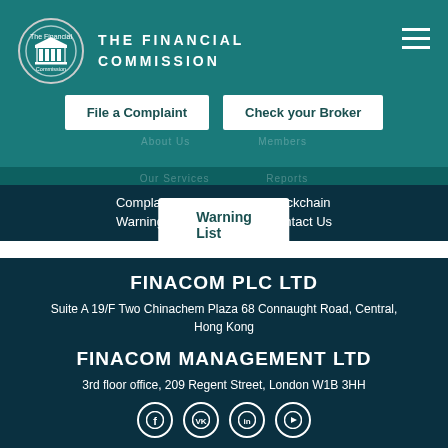[Figure (logo): The Financial Commission logo: circular emblem with a classical building/column icon]
THE FINANCIAL COMMISSION
File a Complaint
Check your Broker
Warning List
Complaints
Warning List
Blockchain
Contact Us
FINACOM PLC LTD
Suite A 19/F Two Chinachem Plaza 68 Connaught Road, Central, Hong Kong
FINACOM MANAGEMENT LTD
3rd floor office, 209 Regent Street, London W1B 3HH
[Figure (illustration): Social media icons: Facebook (f), VK (vk), LinkedIn (in), YouTube (play button), all in circular outlines]